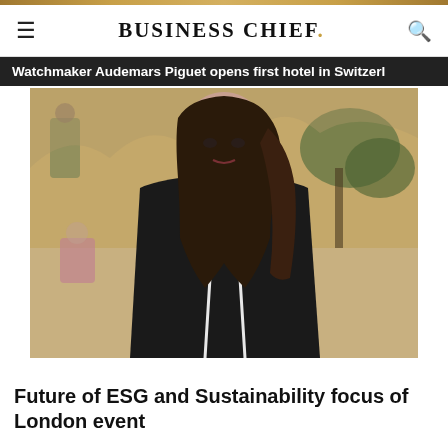BUSINESS CHIEF.
Watchmaker Audemars Piguet opens first hotel in Switzerl
[Figure (photo): Portrait photo of a young woman with dark hair wearing a black blazer with white trim, standing in front of an ornate Asian-style decorative mural painting featuring traditional figures in a landscape.]
Future of ESG and Sustainability focus of London event